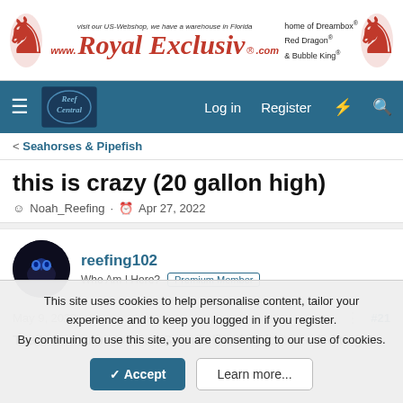[Figure (logo): Royal Exclusiv advertisement banner with red lion logo, brand name in red italic serif font, tagline about US-Webshop and Florida warehouse, and product lines including Dreambox, Red Dragon, Bubble King]
Log in  Register
< Seahorses & Pipefish
this is crazy (20 gallon high)
Noah_Reefing · Apr 27, 2022
reefing102
Who Am I Here?  Premium Member
May 9, 2022  #21
That's awesome to hear. Sounds like they just needed to get
This site uses cookies to help personalise content, tailor your experience and to keep you logged in if you register.
By continuing to use this site, you are consenting to our use of cookies.
✓ Accept  Learn more...